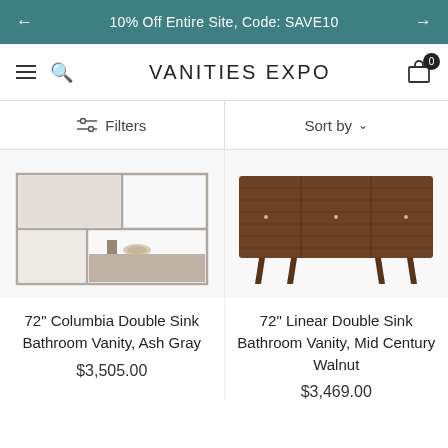10% Off Entire Site, Code: SAVE10
VANITIES EXPO
Filters   Sort by
[Figure (photo): 72 inch Columbia Double Sink Bathroom Vanity in Ash Gray finish - modern open shelf design with metal frame]
72" Columbia Double Sink Bathroom Vanity, Ash Gray
$3,505.00
[Figure (photo): 72 inch Linear Double Sink Bathroom Vanity in Mid Century Walnut finish - dark wood with horizontal slat drawer fronts on tapered legs]
72" Linear Double Sink Bathroom Vanity, Mid Century Walnut
$3,469.00